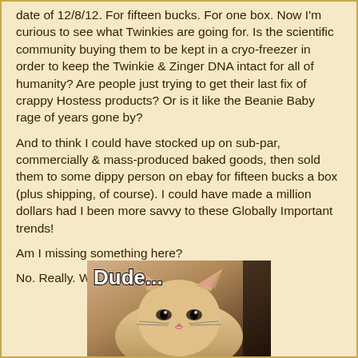date of 12/8/12.  For fifteen bucks.  For one box.  Now I'm curious to see what Twinkies are going for.  Is the scientific community buying them to be kept in a cryo-freezer in order to keep the Twinkie & Zinger DNA intact for all of humanity?  Are people just trying to get their last fix of crappy Hostess products?  Or is it like the Beanie Baby rage of years gone by?
And to think I could have stocked up on sub-par, commercially & mass-produced baked goods, then sold them to some dippy person on ebay for fifteen bucks a box (plus shipping, of course).  I could have made a million dollars had I been more savvy to these Globally Important trends!
Am I missing something here?
No.  Really.  What the hell am I missing?
[Figure (photo): Meme image of a cat with text 'Dude...' in bold white letters at the top left]